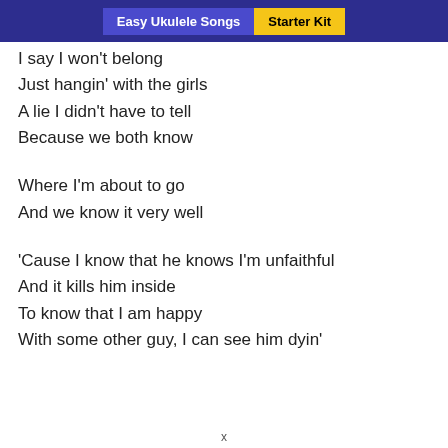Easy Ukulele Songs | Starter Kit
I say I won't belong
Just hangin' with the girls
A lie I didn't have to tell
Because we both know
Where I'm about to go
And we know it very well
'Cause I know that he knows I'm unfaithful
And it kills him inside
To know that I am happy
With some other guy, I can see him dyin'